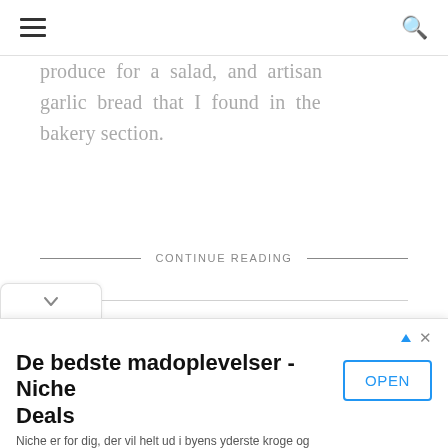[hamburger menu] [search icon]
produce for a salad, and artisan garlic bread that I found in the bakery section.
CONTINUE READING
February 10, 2016  |  3 comments
[Figure (infographic): Social share icons: heart, facebook, twitter, google+, pinterest]
[Figure (infographic): Ad banner: De bedste madoplevelser - Niche Deals. Niche er for dig, der vil helt ud i byens yderste kroge og kringlede hjørner. niche.dk. OPEN button.]